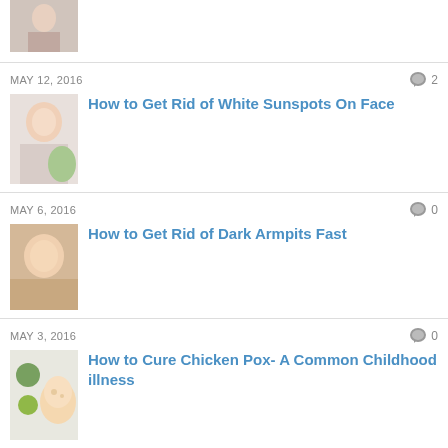[Figure (photo): Woman drinking water thumbnail (partial, top of page)]
MAY 12, 2016  💬 2
How to Get Rid of White Sunspots On Face
[Figure (photo): Woman with face mask thumbnail]
MAY 6, 2016  💬 0
How to Get Rid of Dark Armpits Fast
[Figure (photo): Woman lying down thumbnail]
MAY 3, 2016  💬 0
How to Cure Chicken Pox- A Common Childhood illness
[Figure (photo): Baby with remedies thumbnail]
MAY 2, 2016  💬 0
How to Get Rid of an Ear Infection